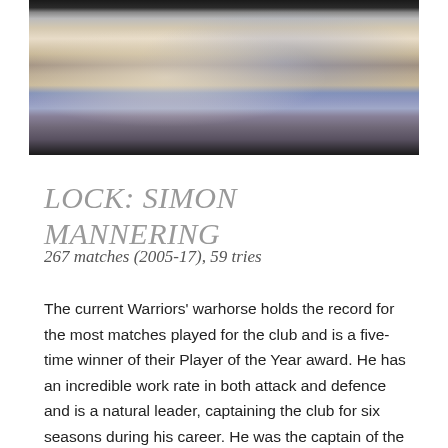[Figure (photo): A photo showing rugby players in white and blue jerseys, partially cropped, with dark edges on left and right sides.]
LOCK: SIMON MANNERING
267 matches (2005-17), 59 tries
The current Warriors' warhorse holds the record for the most matches played for the club and is a five-time winner of their Player of the Year award. He has an incredible work rate in both attack and defence and is a natural leader, captaining the club for six seasons during his career. He was the captain of the Warriors' 2011 grand final team and has been one of the first forwards selected